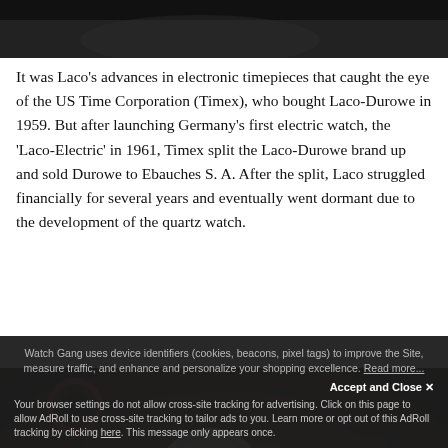[Figure (photo): Dark close-up photo of a watch or leather strap against dark background (top portion)]
It was Laco's advances in electronic timepieces that caught the eye of the US Time Corporation (Timex), who bought Laco-Durowe in 1959. But after launching Germany's first electric watch, the 'Laco-Electric' in 1961, Timex split the Laco-Durowe brand up and sold Durowe to Ebauches S. A. After the split, Laco struggled financially for several years and eventually went dormant due to the development of the quartz watch.
[Figure (photo): Close-up photo of a vintage Laco watch on a brown leather strap against a dark fabric background with compass visible]
Watch Gang uses device identifiers (cookies, beacons, pixel tags) to improve the Site, measure traffic, and enhance and personalize your shopping excellence. Read more...
Accept and Close ✕
Your browser settings do not allow cross-site tracking for advertising. Click on this page to allow AdRoll to use cross-site tracking to tailor ads to you. Learn more or opt out of this AdRoll tracking by clicking here. This message only appears once.